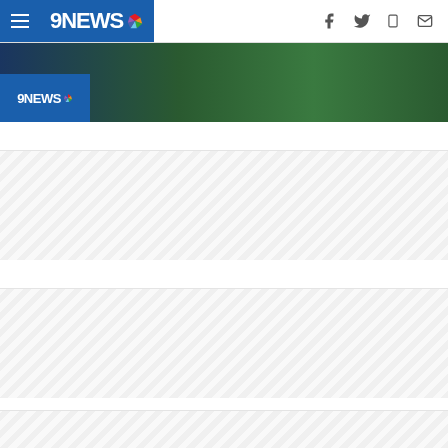9NEWS NBC — Navigation header with hamburger menu, 9NEWS logo, and social icons (Facebook, Twitter, Mobile, Email)
[Figure (screenshot): Partial news website hero image showing outdoor/nature scene with blue 9NEWS logo overlay in bottom-left corner]
[Figure (other): Ad placeholder banner with diagonal stripe pattern]
[Figure (other): Ad placeholder banner with diagonal stripe pattern]
[Figure (other): Ad placeholder banner with diagonal stripe pattern]